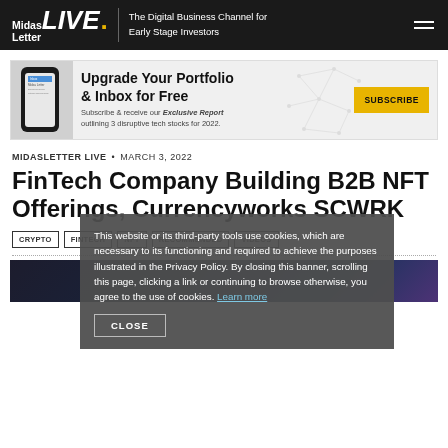Midas Letter LIVE. | The Digital Business Channel for Early Stage Investors
[Figure (infographic): Banner ad: phone image, Upgrade Your Portfolio & Inbox for Free. Subscribe & receive our Exclusive Report outlining 3 disruptive tech stocks for 2022. SUBSCRIBE button.]
MIDASLETTER LIVE • MARCH 3, 2022
FinTech Company Building B2B NFT Offerings, Currencyworks SCWRK
CRYPTO
FINTECH
NFT
RECOMMENDED
VIDEOS
[Figure (screenshot): Dark thumbnail image at the bottom of the article preview]
This website or its third-party tools use cookies, which are necessary to its functioning and required to achieve the purposes illustrated in the Privacy Policy. By closing this banner, scrolling this page, clicking a link or continuing to browse otherwise, you agree to the use of cookies. Learn more
CLOSE